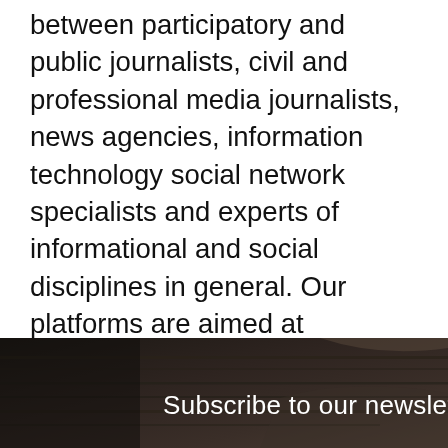between participatory and public journalists, civil and professional media journalists, news agencies, information technology social network specialists and experts of informational and social disciplines in general. Our platforms are aimed at changing the common trend of information consumption and give everyone a possibility to be an active contributor.
[Figure (other): Social media share buttons: Facebook (f), Twitter (bird), LinkedIn (in), and a plus (+) button stacked vertically on the left side]
[Figure (photo): Dark background banner showing stacked newspapers with text 'Subscribe to our newslett' (truncated) in white]